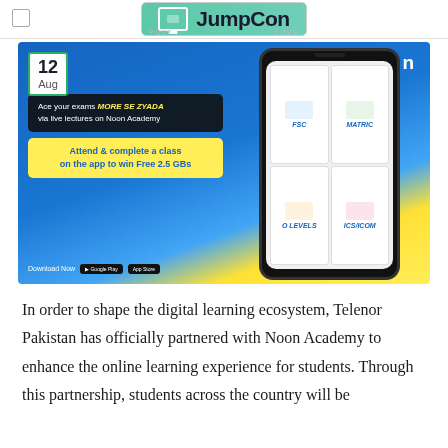JumpCon
[Figure (photo): Noon Academy advertisement showing a smartphone with FSC, MATRIC, O LEVELS, ICS/ICOM course cards. Date badge shows 12 Aug. Text: Ace your exams MORE SE ZYADA via live lectures on Noon Academy. Attend & complete a class on the app to win Free 2.5 GBs. Download Now on Google Play and App Store.]
In order to shape the digital learning ecosystem, Telenor Pakistan has officially partnered with Noon Academy to enhance the online learning experience for students. Through this partnership, students across the country will be